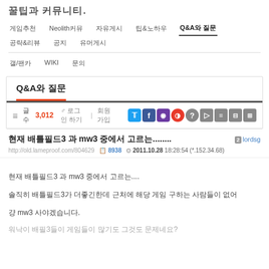꿀팁과 커뮤니티.
게임추천   Neolith커뮤  자유게시  팁&노하우  Q&A와 질문  공략&리뷰  공지  유머게시
갤/팬카  WIKI  문의
Q&A와 질문
글 수 3,012   로그인 하기 | 회원가입
현재 배틀필드3 과 mw3 중에서 고르는........
2 lordsg
http://old.lameproof.com/804629   8938   2011.10.28 18:28:54 (*.152.34.68)
현재 배틀필드3 과 mw3 중에서 고르는....
솔직히 배틀필드3가 더좋긴한데 근처에 해당 게임 구하는 사람들이 없어
걍 mw3 사야겠습니다.
워낙이 배필3들이 게임들이 많기도 그것도 문제네요?